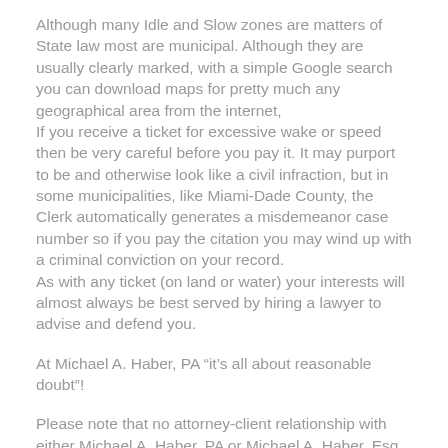Although many Idle and Slow zones are matters of State law most are municipal. Although they are usually clearly marked, with a simple Google search you can download maps for pretty much any geographical area from the internet,
If you receive a ticket for excessive wake or speed then be very careful before you pay it. It may purport to be and otherwise look like a civil infraction, but in some municipalities, like Miami-Dade County, the Clerk automatically generates a misdemeanor case number so if you pay the citation you may wind up with a criminal conviction on your record.
As with any ticket (on land or water) your interests will almost always be best served by hiring a lawyer to advise and defend you.
At Michael A. Haber, PA “it’s all about reasonable doubt”!
Please note that no attorney-client relationship with either Michael A. Haber, PA or Michael A. Haber, Esq. exists as a result of your watching this Webisode series. Further any and all information which is both contained in and may be construed from this Webisode series is generic in nature and should only be considered as informational and not as actual legal advise in any specific case. Should you wish to seek actual legal advise then